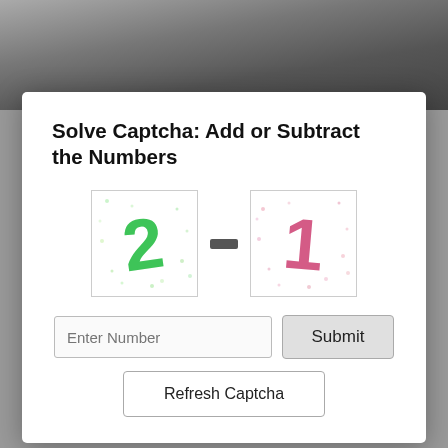[Figure (photo): Black and white photo of a person, partially visible at the top of the page behind a modal dialog]
[Figure (screenshot): CAPTCHA modal dialog box with title 'Solve Captcha: Add or Subtract the Numbers', showing a '2' in green on a white background and a '1' in pink/red on a white background with a minus sign between them, an input field labeled 'Enter Number', a Submit button, and a Refresh Captcha button]
addressed Gender Based Violence
Thu, 10/09/2020 - 14:09
[Figure (photo): Dark red/maroon background image with the word 'STOP' in large yellow/gold distressed text, partially visible at the bottom, appearing to be a 'Stop Gender-Based Violence' graphic]
Advertisement